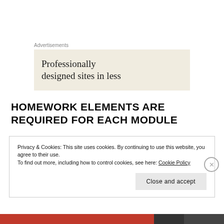Advertisements
[Figure (other): Advertisement banner with beige/cream background showing text: Professionally designed sites in less]
HOMEWORK ELEMENTS ARE REQUIRED FOR EACH MODULE
Privacy & Cookies: This site uses cookies. By continuing to use this website, you agree to their use.
To find out more, including how to control cookies, see here: Cookie Policy
Close and accept